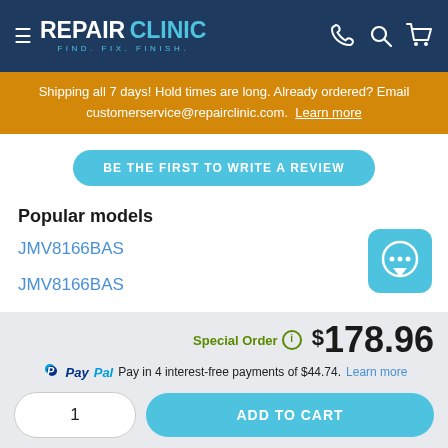REPAIR CLINIC — FIND. FIX. FINISH.
Shipping all 7 days! Hold times are long. Already ordered? Email customerservice@repairclinic.com. Learn more
BE THE FIRST TO WRITE A REVIEW
Popular models
JMV8166BAS
JMV8166BAS
Special Order  $178.96
PayPal Pay in 4 interest-free payments of $44.74. Learn more
1   ADD TO CART